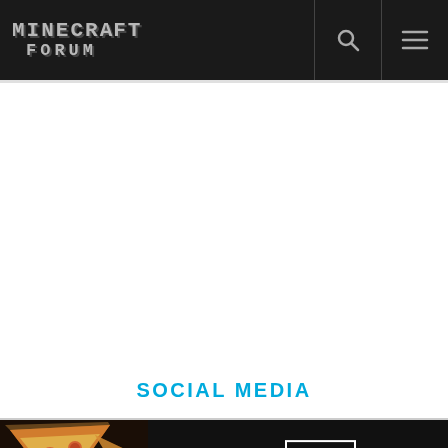MINECRAFT FORUM
SOCIAL MEDIA
[Figure (screenshot): Advertisement banner for Seamless food delivery service, showing pizza slices on the left, a red Seamless logo button in the center, and an 'ORDER NOW' button, with a close X button on the right.]